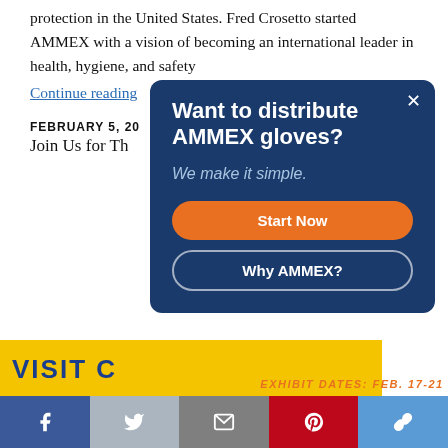protection in the United States. Fred Crosetto started AMMEX with a vision of becoming an international leader in health, hygiene, and safety
Continue reading
FEBRUARY 5, 20
Join Us for Th
[Figure (screenshot): Yellow banner with 'VISIT C' text in blue bold letters, and ARA Rental Show logo below]
[Figure (infographic): Modal popup with dark blue background: 'Want to distribute AMMEX gloves? We make it simple.' with orange Start Now button and outlined Why AMMEX? button, and X close button]
EXHIBIT DATES: FEB. 17-21
Facebook | Twitter | Email | Pinterest | Link